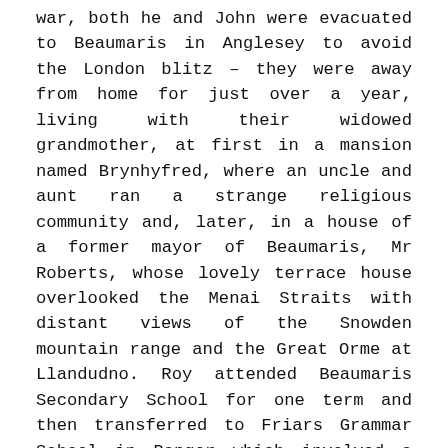war, both he and John were evacuated to Beaumaris in Anglesey to avoid the London blitz – they were away from home for just over a year, living with their widowed grandmother, at first in a mansion named Brynhyfred, where an uncle and aunt ran a strange religious community and, later, in a house of a former mayor of Beaumaris, Mr Roberts, whose lovely terrace house overlooked the Menai Straits with distant views of the Snowden mountain range and the Great Orme at Llandudno. Roy attended Beaumaris Secondary School for one term and then transferred to Friars Grammar School in Bangor which involved a journey of 6